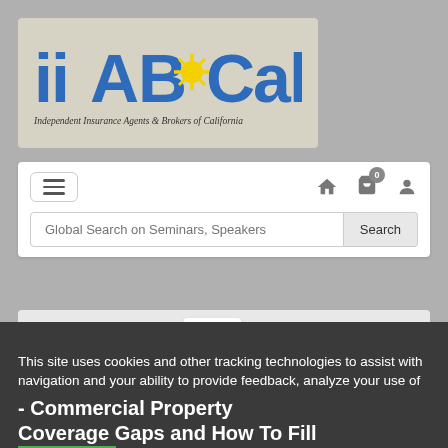[Figure (logo): IIABCal logo - Independent Insurance Agents & Brokers of California. Blue text with yellow starburst accent on beige/tan background.]
[Figure (screenshot): Navigation bar with hamburger menu, home icon, cart icon with badge showing 0, and user/profile icon. Below is a search bar reading 'Global Search on Seminars, Speakers' with a Search button.]
[Figure (screenshot): Content loading area with a spinning loader icon and a print icon in the top right corner.]
This site uses cookies and other tracking technologies to assist with navigation and your ability to provide feedback, analyze your use of our products and services, and assist with our promotional and marketing efforts.   More Information
- Commercial Property Coverage Gaps and How To Fill